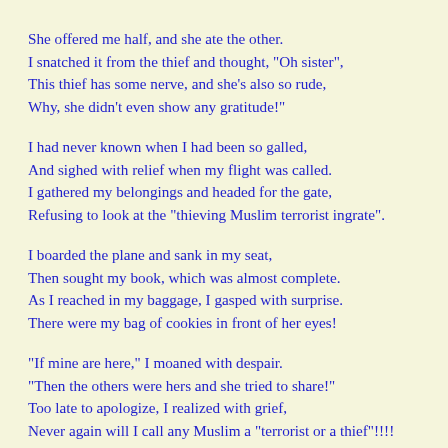She offered me half, and she ate the other.
I snatched it from the thief and thought, "Oh sister",
This thief has some nerve, and she's also so rude,
Why, she didn't even show any gratitude!"

I had never known when I had been so galled,
And sighed with relief when my flight was called.
I gathered my belongings and headed for the gate,
Refusing to look at the "thieving Muslim terrorist ingrate".

I boarded the plane and sank in my seat,
Then sought my book, which was almost complete.
As I reached in my baggage, I gasped with surprise.
There were my bag of cookies in front of her eyes!

"If mine are here," I moaned with despair.
"Then the others were hers and she tried to share!"
Too late to apologize, I realized with grief,
Never again will I call any Muslim a "terrorist or a thief"!!!!